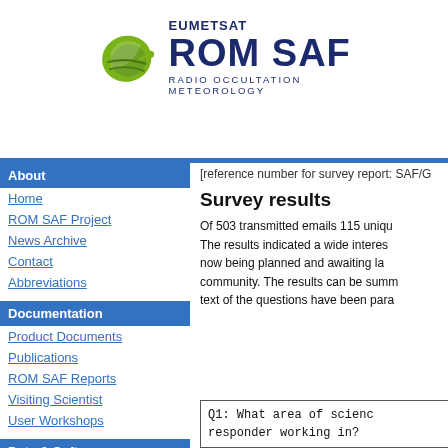[Figure (logo): EUMETSAT ROM SAF logo with green leaf/satellite dish icon and dark navy blue text reading EUMETSAT ROM SAF RADIO OCCULTATION METEOROLOGY]
About
Home
ROM SAF Project
News Archive
Contact
Abbreviations
Documentation
Product Documents
Publications
ROM SAF Reports
Visiting Scientist
User Workshops
Data & Software
Product Archive
[reference number for survey report: SAF/G
Survey results
Of 503 transmitted emails 115 unique responses were received. The results indicated a wide interest in the new products now being planned and awaiting launch from the user community. The results can be summarised as follows (the text of the questions have been paraphrased):
Q1: What area of science responder working in?